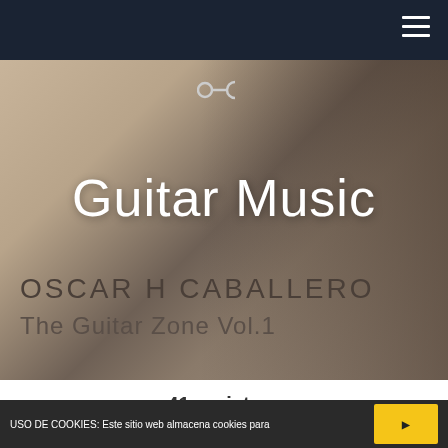Navigation bar with hamburger menu
[Figure (photo): Hero banner showing a blurred guitar close-up in warm beige/brown tones. Center-top has the OC logo (circle-dash-C). Large white text reads 'Guitar Music'. Below in dark grey: 'OSCAR H CABALLERO' and 'The Guitar Zone Vol.1'.]
41 registros
USO DE COOKIES: Este sitio web almacena cookies para